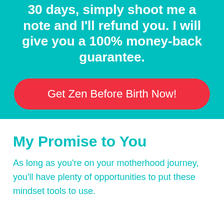30 days, simply shoot me a note and I'll refund you. I will give you a 100% money-back guarantee.
Get Zen Before Birth Now!
My Promise to You
As long as you're on your motherhood journey, you'll have plenty of opportunities to put these mindset tools to use.